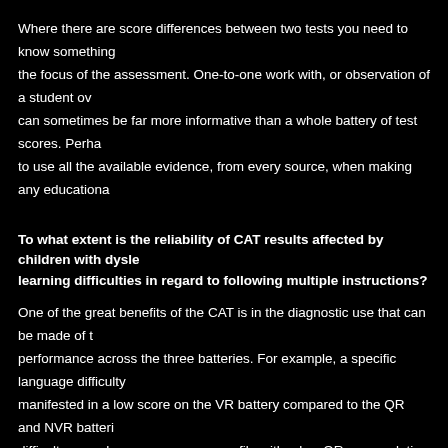Where there are score differences between two tests you need to know something about the focus of the assessment. One-to-one work with, or observation of a student over can sometimes be far more informative than a whole battery of test scores. Perhaps to use all the available evidence, from every source, when making any educational
To what extent is the reliability of CAT results affected by children with dyslexia or learning difficulties in regard to following multiple instructions?
One of the great benefits of the CAT is in the diagnostic use that can be made of the performance across the three batteries. For example, a specific language difficulty manifested in a low score on the VR battery compared to the QR and NVR batteries. A difficulty may show as an uneven profile with a low QR score relative to VR and NVR. It is appropriate to follow up the CAT results for such pupils with further one-to-one assessment. These are likely to be the starting point for hypotheses and questions which will require further
However, it should be stressed that it is important to recognise the experience and in all children if the tests are to provide valid assessments. For example, The CAT that pupils have a 'normal' level of attainment in reading for their age. The actual moderate level, so that all such pupils will cope easily with that aspect of the tests and measure differences in reasoning abilities not in reading skills. Any child whose skills are affected by dyslexia cannot therefore be validly assessed for reasoning ability with